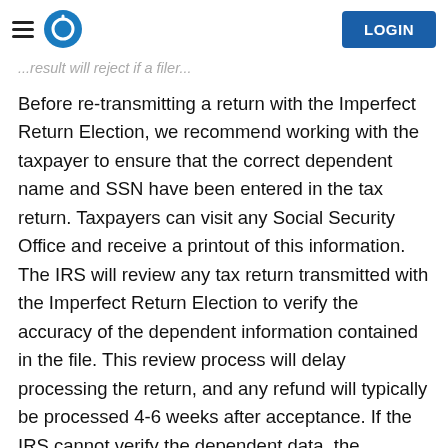LOGIN
...result will reject if a filer...
Before re-transmitting a return with the Imperfect Return Election, we recommend working with the taxpayer to ensure that the correct dependent name and SSN have been entered in the tax return. Taxpayers can visit any Social Security Office and receive a printout of this information. The IRS will review any tax return transmitted with the Imperfect Return Election to verify the accuracy of the dependent information contained in the file. This review process will delay processing the return, and any refund will typically be processed 4-6 weeks after acceptance. If the IRS cannot verify the dependent data, the taxpayer may be disqualified from claiming the dependent and any